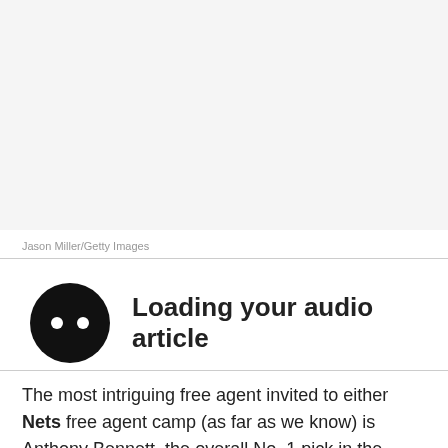[Figure (photo): White/light gray blank photo area (image not shown)]
Jason Miller/Getty Images
[Figure (other): Audio article player widget with black circle icon containing two white dots and text 'Loading your audio article']
The most intriguing free agent invited to either Nets free agent camp (as far as we know) is Anthony Bennett, the overall No. 1 pick in the 2013 NBA Draft